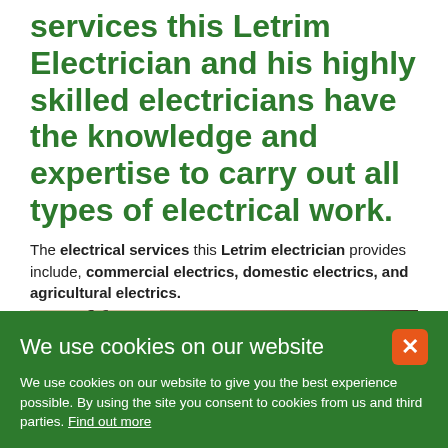services this Letrim Electrician and his highly skilled electricians have the knowledge and expertise to carry out all types of electrical work.
The electrical services this Letrim electrician provides include, commercial electrics, domestic electrics, and agricultural electrics.
This Letrim Electrician provides a complete range of domestic
[Figure (photo): A dark silhouette photo of hands working with electrical wiring/cables]
We use cookies on our website
We use cookies on our website to give you the best experience possible. By using the site you consent to cookies from us and third parties. Find out more